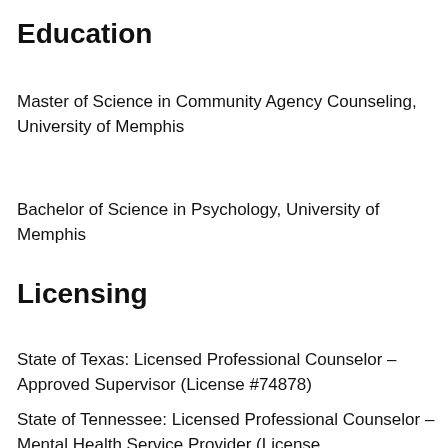Education
Master of Science in Community Agency Counseling, University of Memphis
Bachelor of Science in Psychology, University of Memphis
Licensing
State of Texas: Licensed Professional Counselor – Approved Supervisor (License #74878)
State of Tennessee: Licensed Professional Counselor – Mental Health Service Provider (License